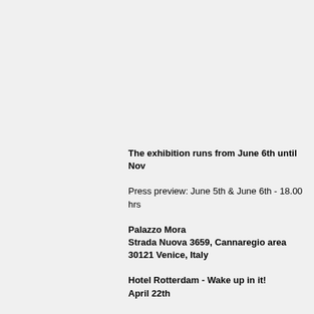The exhibition runs from June 6th until Nov
Press preview: June 5th & June 6th - 18.00 hrs
Palazzo Mora
Strada Nuova 3659, Cannaregio area
30121 Venice, Italy
Hotel Rotterdam - Wake up in it!
April 22th